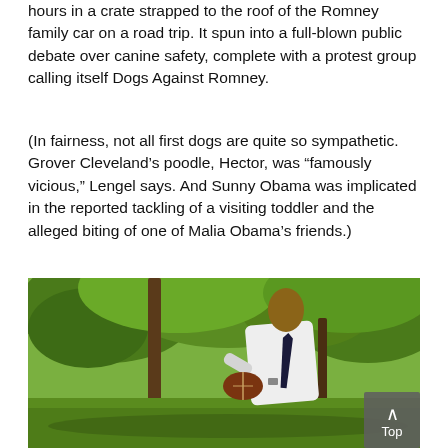hours in a crate strapped to the roof of the Romney family car on a road trip. It spun into a full-blown public debate over canine safety, complete with a protest group calling itself Dogs Against Romney.
(In fairness, not all first dogs are quite so sympathetic. Grover Cleveland’s poodle, Hector, was “famously vicious,” Lengel says. And Sunny Obama was implicated in the reported tackling of a visiting toddler and the alleged biting of one of Malia Obama’s friends.)
[Figure (photo): A man in a white dress shirt and dark tie holding a football outdoors on a green lawn with trees in the background. A 'Top' navigation button is visible in the bottom-right corner.]